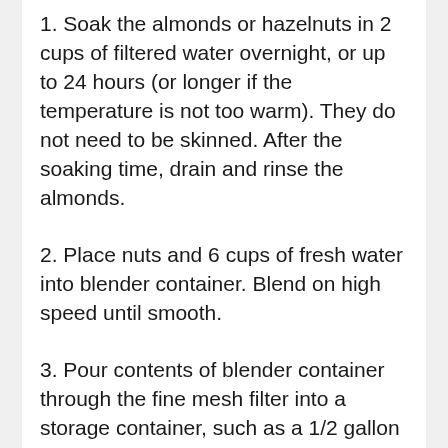1. Soak the almonds or hazelnuts in 2 cups of filtered water overnight, or up to 24 hours (or longer if the temperature is not too warm). They do not need to be skinned. After the soaking time, drain and rinse the almonds.
2. Place nuts and 6 cups of fresh water into blender container. Blend on high speed until smooth.
3. Pour contents of blender container through the fine mesh filter into a storage container, such as a 1/2 gallon mason jar.
4. If sweetening, pour 2 cups of the milk into the blender container and add desired sweetener. Blend well and add back to storage container. Mix